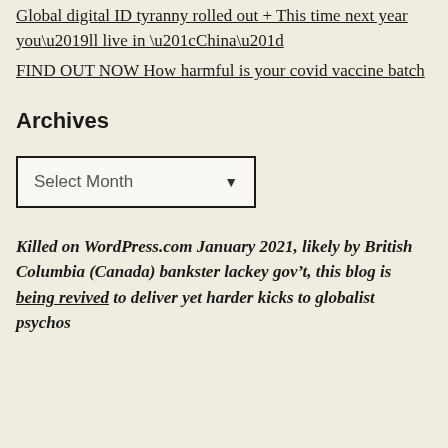Global digital ID tyranny rolled out + This time next year you’ll live in “China”
FIND OUT NOW How harmful is your covid vaccine batch
Archives
[Figure (other): Dropdown select box labeled 'Select Month' with a downward arrow]
Killed on WordPress.com January 2021, likely by British Columbia (Canada) bankster lackey gov’t, this blog is being revived to deliver yet harder kicks to globalist psychos